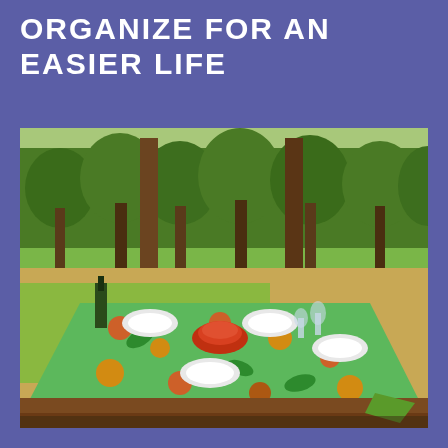ORGANIZE FOR AN EASIER LIFE
[Figure (photo): Outdoor picnic table set with white plates, wine glasses, a red bowl with fruit, and a green floral tablecloth, surrounded by trees and vineyard in the background under bright sunlight.]